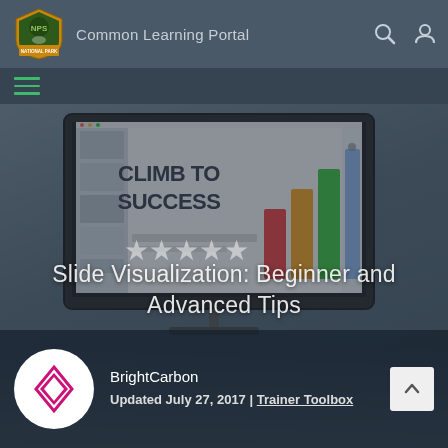Common Learning Portal
[Figure (screenshot): Common Learning Portal website screenshot showing a course page titled 'Slide Visualization: Beginner and Advanced Tips' by BrightCarbon, with a monitor displaying 'CLIMB TO SUCCESS' presentation, star rating, and updated date July 27, 2017 in the Trainer Toolbox category.]
Slide Visualization: Beginner and Advanced Tips
BrightCarbon
Updated July 27, 2017 | Trainer Toolbox